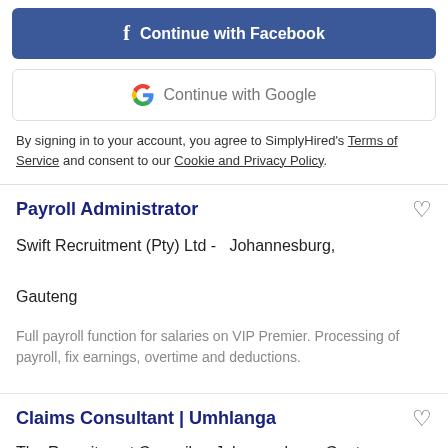[Figure (other): Facebook login button - blue button with Facebook icon and text 'Continue with Facebook']
[Figure (other): Google login button - white button with Google G logo and text 'Continue with Google']
By signing in to your account, you agree to SimplyHired's Terms of Service and consent to our Cookie and Privacy Policy.
Payroll Administrator
Swift Recruitment (Pty) Ltd -  Johannesburg,

Gauteng
Full payroll function for salaries on VIP Premier. Processing of payroll, fix earnings, overtime and deductions.
Claims Consultant | Umhlanga
The Recruitment Council -  Johannesburg, Gauteng
Our client a leader within the commercial and corporate